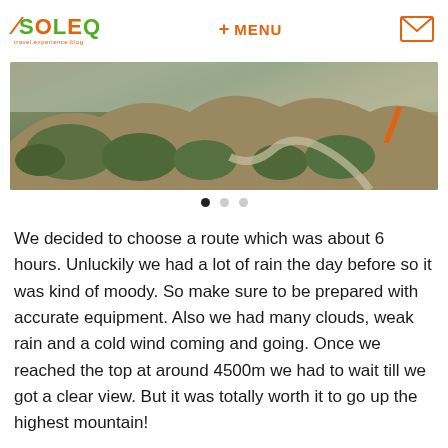YSOLEQ | + MENU | [mail icon]
[Figure (photo): Landscape photo of a winding mountain road with shrubby vegetation on rocky hillsides, with an orange Y logo watermark on the right side]
We decided to choose a route which was about 6 hours. Unluckily we had a lot of rain the day before so it was kind of moody. So make sure to be prepared with accurate equipment. Also we had many clouds, weak rain and a cold wind coming and going. Once we reached the top at around 4500m we had to wait till we got a clear view. But it was totally worth it to go up the highest mountain!